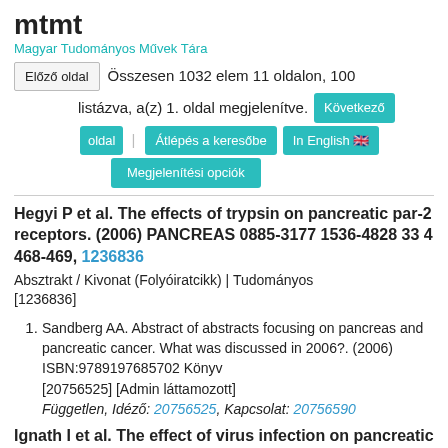mtmt
Magyar Tudományos Művek Tára
Előző oldal  Összesen 1032 elem 11 oldalon, 100 listázva, a(z) 1. oldal megjelenítve. Következő oldal | Átlépés a keresőbe  In English 🇬🇧  Megjelenítési opciók
Hegyi P et al. The effects of trypsin on pancreatic par-2 receptors. (2006) PANCREAS 0885-3177 1536-4828 33 4 468-469, 1236836
Absztrakt / Kivonat (Folyóiratcikk) | Tudományos
[1236836]
Sandberg AA. Abstract of abstracts focusing on pancreas and pancreatic cancer. What was discussed in 2006?. (2006) ISBN:9789197685702 Könyv
[20756525] [Admin láttamozott]
Független, Idéző: 20756525, Kapcsolat: 20756590
Ignath I et al. The effect of virus infection on pancreatic